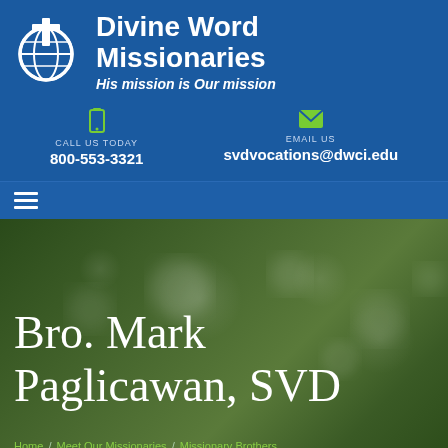[Figure (logo): Divine Word Missionaries logo with globe and cross icon]
Divine Word Missionaries
His mission is Our mission
CALL US TODAY
800-553-3321
EMAIL US
svdvocations@dwci.edu
[Figure (screenshot): Navigation hamburger menu icon]
Bro. Mark Paglicawan, SVD
Home / Meet Our Missionaries / Missionary Brothers / Bro. Mark Paglicawan, SVD